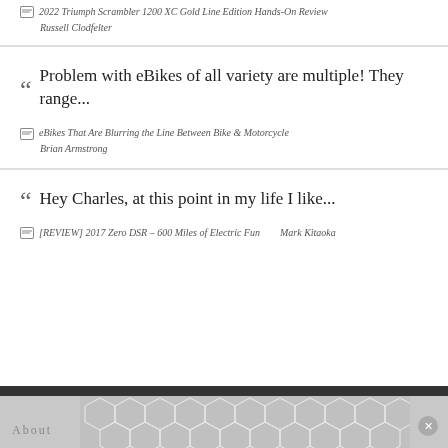2022 Triumph Scrambler 1200 XC Gold Line Edition Hands-On Review
Russell Clodfelter
Problem with eBikes of all variety are multiple! They range...
eBikes That Are Blurring the Line Between Bike & Motorcycle
Brian Armstrong
Hey Charles, at this point in my life I like...
[REVIEW] 2017 Zero DSR – 600 Miles of Electric Fun
Mark Kitaoka
About